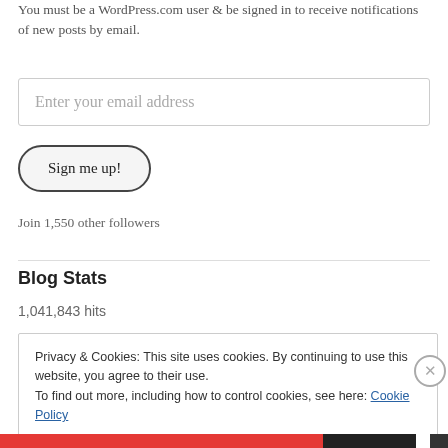You must be a WordPress.com user & be signed in to receive notifications of new posts by email.
Enter your email address
Sign me up!
Join 1,550 other followers
Blog Stats
1,041,843 hits
Privacy & Cookies: This site uses cookies. By continuing to use this website, you agree to their use.
To find out more, including how to control cookies, see here: Cookie Policy
Close and accept